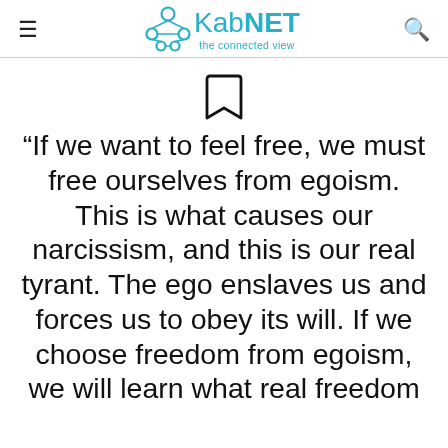KabNET the connected view
[Figure (illustration): Bookmark icon (outline)]
“If we want to feel free, we must free ourselves from egoism. This is what causes our narcissism, and this is our real tyrant. The ego enslaves us and forces us to obey its will. If we choose freedom from egoism, we will learn what real freedom